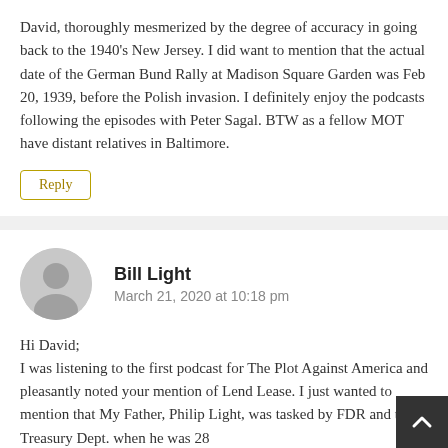David, thoroughly mesmerized by the degree of accuracy in going back to the 1940's New Jersey. I did want to mention that the actual date of the German Bund Rally at Madison Square Garden was Feb 20, 1939, before the Polish invasion. I definitely enjoy the podcasts following the episodes with Peter Sagal. BTW as a fellow MOT have distant relatives in Baltimore.
Reply
Bill Light
March 21, 2020 at 10:18 pm
Hi David;
I was listening to the first podcast for The Plot Against America and pleasantly noted your mention of Lend Lease. I just wanted to mention that My Father, Philip Light, was tasked by FDR and the Treasury Dept. when he was 28